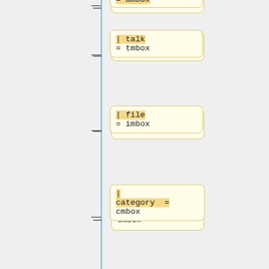[Figure (flowchart): Flowchart/tree diagram showing conditional branches with monospace code nodes. Nodes contain: '= ambox' (top, partially visible), '| talk = tmbox', '| file = imbox', '| category = cmbox', '| other = ombox', '}}', '| type = {{{type|}}}', '| image = {{{image|}}}'. Each node is connected by a vertical blue line on the left and horizontal dash connectors.]